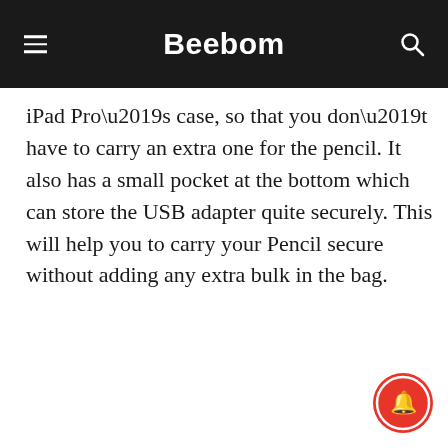Beebom
iPad Pro’s case, so that you don’t have to carry an extra one for the pencil. It also has a small pocket at the bottom which can store the USB adapter quite securely. This will help you to carry your Pencil secure without adding any extra bulk in the bag.